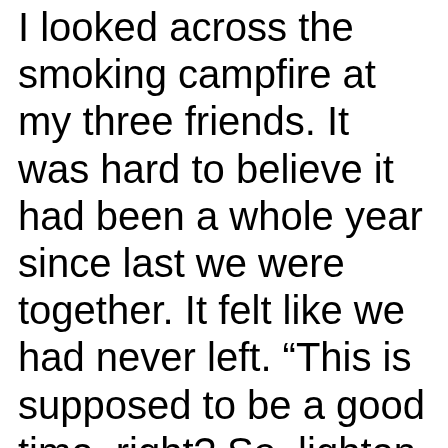I looked across the smoking campfire at my three friends. It was hard to believe it had been a whole year since last we were together. It felt like we had never left. “This is supposed to be a good time, right? So, lighten-up! I didn’t drive all the way from L.A. to stare at